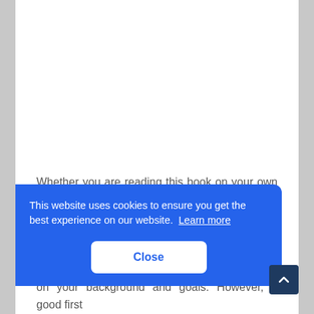Whether you are reading this book on your own or using it as a companion to a web design course, I have
[Figure (screenshot): Cookie consent banner overlay with blue background reading 'This website uses cookies to ensure you get the best experience on our website. Learn more' and a white Close button. A dark blue scroll-to-top arrow button appears in the bottom right.]
on your background and goals. However, a good first